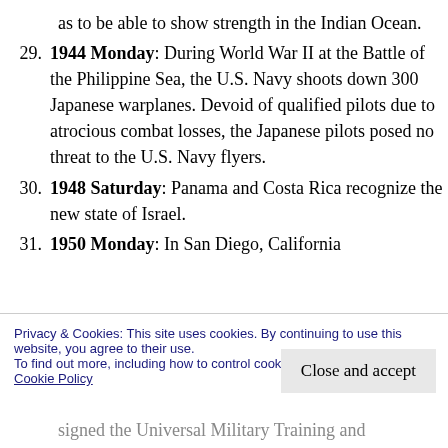as to be able to show strength in the Indian Ocean.
29. 1944 Monday: During World War II at the Battle of the Philippine Sea, the U.S. Navy shoots down 300 Japanese warplanes. Devoid of qualified pilots due to atrocious combat losses, the Japanese pilots posed no threat to the U.S. Navy flyers.
30. 1948 Saturday: Panama and Costa Rica recognize the new state of Israel.
31. 1950 Monday: In San Diego, California
Privacy & Cookies: This site uses cookies. By continuing to use this website, you agree to their use.
To find out more, including how to control cookies, see here:
Cookie Policy
Close and accept
signed the Universal Military Training and